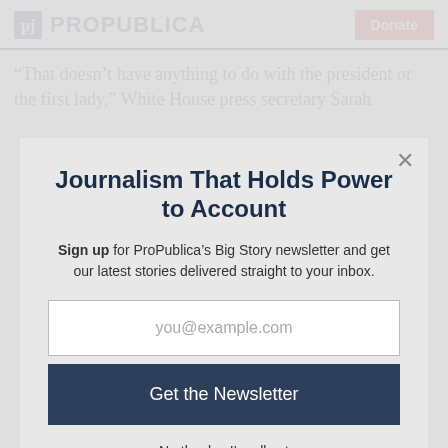ProPublica | Donate
“That doesn’t have anything to do with the president or the first lady,” White House press secretary Sarah
Journalism That Holds Power to Account
Sign up for ProPublica’s Big Story newsletter and get our latest stories delivered straight to your inbox.
you@example.com
Get the Newsletter
No thanks, I’m all set
This site is protected by reCAPTCHA and the Google Privacy Policy and Terms of Service apply.